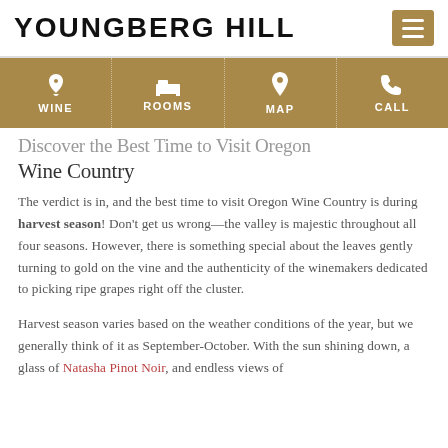YOUNGBERG HILL
[Figure (infographic): Navigation bar with four items: WINE (wine glass icon), ROOMS (bed icon), MAP (location pin icon), CALL (telephone icon) on a tan/gold background]
Discover the Best Time to Visit Oregon Wine Country
The verdict is in, and the best time to visit Oregon Wine Country is during harvest season! Don't get us wrong—the valley is majestic throughout all four seasons. However, there is something special about the leaves gently turning to gold on the vine and the authenticity of the winemakers dedicated to picking ripe grapes right off the cluster.
Harvest season varies based on the weather conditions of the year, but we generally think of it as September-October. With the sun shining down, a glass of Natasha Pinot Noir, and endless views of